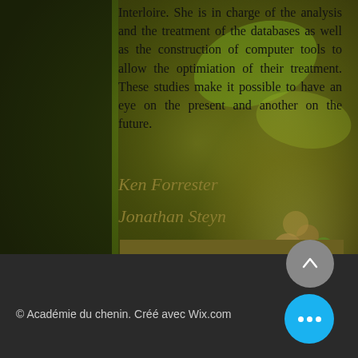[Figure (photo): Close-up blurred background photo of grape clusters and green vine leaves, olive and brown tones.]
Interloire. She is in charge of the analysis and the treatment of the databases as well as the construction of computer tools to allow the optimiation of their treatment. These studies make it possible to have an eye on the present and another on the future.
Ken Forrester
Jonathan Steyn
Previous
Next
© Académie du chenin. Créé avec Wix.com